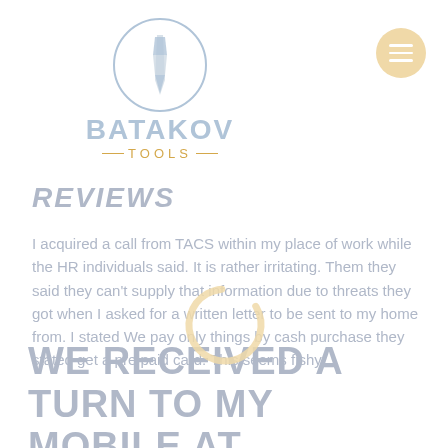[Figure (logo): Batakov Tools logo with circular emblem containing a drill bit, brand name BATAKOV in bold blue-grey letters and TOOLS in gold/orange with decorative dashes]
[Figure (other): Orange circular hamburger menu button with three white horizontal bars, top right corner]
[Figure (other): Partially visible golden/orange circular loading spinner overlay in the center of the page]
REVIEWS
I acquired a call from TACS within my place of work while the HR individuals said. It is rather irritating. Them they said they can't supply that information due to threats they got when I asked for a written letter to be sent to my home from. I stated We pay only things by cash purchase they stated get a pre paid card. This seems fishy
WE RECEIVED A TURN TO MY MOBILE AT APPROXIMATELY PM ON A SATURDAY SOMETHING THAT IS SAYING